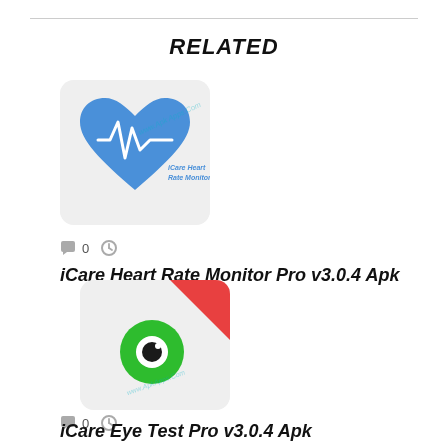RELATED
[Figure (illustration): App icon for iCare Heart Rate Monitor showing a blue heart with heartbeat waveline on a light gray rounded rectangle background, with 'iCare Heart Rate Monitor' text label and watermark]
0
iCare Heart Rate Monitor Pro v3.0.4 Apk
[Figure (illustration): App icon for iCare Eye Test Pro showing a green eye icon with red banner on a light gray rounded rectangle background, with watermark]
0
iCare Eye Test Pro v3.0.4 Apk